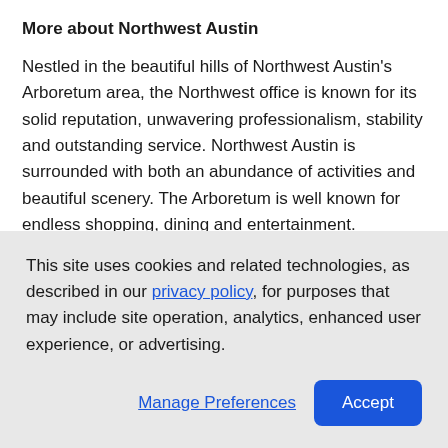More about Northwest Austin
Nestled in the beautiful hills of Northwest Austin's Arboretum area, the Northwest office is known for its solid reputation, unwavering professionalism, stability and outstanding service. Northwest Austin is surrounded with both an abundance of activities and beautiful scenery. The Arboretum is well known for endless shopping, dining and entertainment.
Homes in Northwest Austin range from the mid-$300,000 price point to more than $1 million. Schools boast
This site uses cookies and related technologies, as described in our privacy policy, for purposes that may include site operation, analytics, enhanced user experience, or advertising.
Manage Preferences  Accept